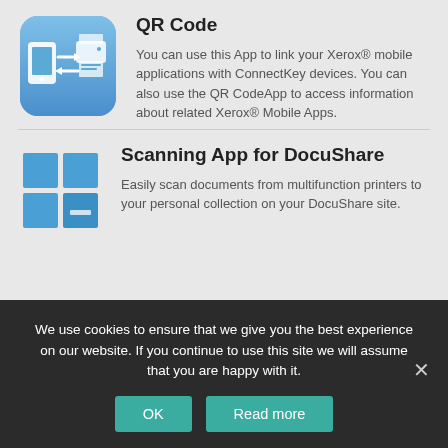[Figure (illustration): Blue rounded-rectangle icon showing a smartphone and printer with transfer arrows, representing QR Code app]
QR Code
You can use this App to link your Xerox® mobile applications with ConnectKey devices. You can also use the QR CodeApp to access information about related Xerox® Mobile Apps.
[Figure (illustration): Blue four-square grid icon (Windows-style) representing DocuShare scanning app]
Scanning App for DocuShare
Easily scan documents from multifunction printers to your personal collection on your DocuShare site.
We use cookies to ensure that we give you the best experience on our website. If you continue to use this site we will assume that you are happy with it.